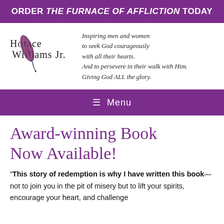ORDER THE FURNACE OF AFFLICTION TODAY
[Figure (logo): Horace Williams Jr. logo with cursive signature text and a purple/dark feather quill illustration]
Inspiring men and women to seek God courageously with all their hearts. And to persevere in their walk with Him. Giving God ALL the glory.
≡ Menu
Award-winning Book Now Available!
“This story of redemption is why I have written this book—not to join you in the pit of misery but to lift your spirits, encourage your heart, and challenge